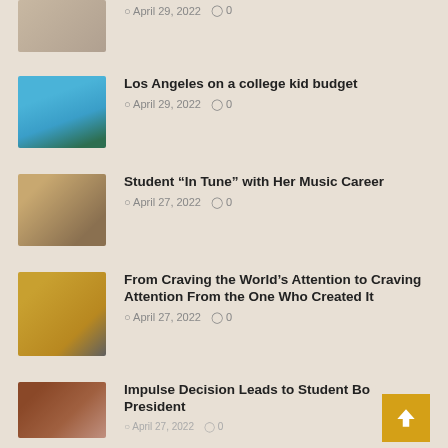[Figure (photo): Partial view of a person with blonde hair, cropped at top]
April 29, 2022   0
[Figure (photo): Palm trees against a blue sky in Los Angeles]
Los Angeles on a college kid budget
April 29, 2022   0
[Figure (photo): Student playing music outdoors near a piano]
Student “In Tune” with Her Music Career
April 27, 2022   0
[Figure (photo): Blurred profile of a person with warm golden background]
From Craving the World’s Attention to Craving Attention From the One Who Created It
April 27, 2022   0
[Figure (photo): Two students standing in front of a brick wall]
Impulse Decision Leads to Student Body President
April 27, 2022   0